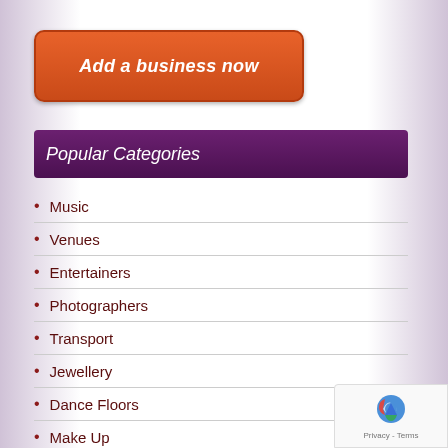Add a business now
Popular Categories
Music
Venues
Entertainers
Photographers
Transport
Jewellery
Dance Floors
Make Up
Marquee Hire
[Figure (logo): reCAPTCHA badge with Privacy and Terms links]